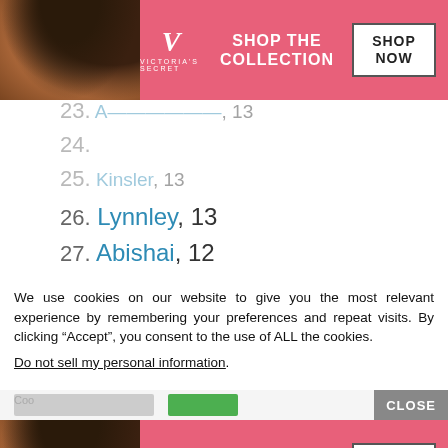[Figure (advertisement): Victoria's Secret ad banner with model, pink background, VS logo, SHOP THE COLLECTION text and SHOP NOW button]
23. [name partially visible], 13
24. [name obscured by ad]
25. Kinsler, 13
26. Lynnley, 13
27. Abishai, 12
28. Adylee, 12
29. Ahri, 12
30. Brenlynn, 12
31. Drayah, 12
32. Jeiza, 12
We use cookies on our website to give you the most relevant experience by remembering your preferences and repeat visits. By clicking “Accept”, you consent to the use of ALL the cookies.
Do not sell my personal information.
[Figure (advertisement): Bottom Victoria's Secret ad banner with model, pink background, VS logo, SHOP THE COLLECTION text and SHOP NOW button]